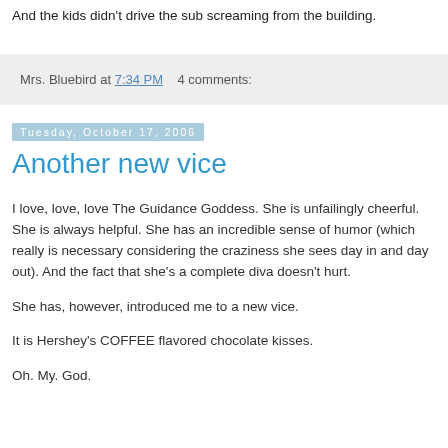And the kids didn't drive the sub screaming from the building.
Mrs. Bluebird at 7:34 PM   4 comments:
Tuesday, October 17, 2006
Another new vice
I love, love, love The Guidance Goddess. She is unfailingly cheerful. She is always helpful. She has an incredible sense of humor (which really is necessary considering the craziness she sees day in and day out). And the fact that she's a complete diva doesn't hurt.
She has, however, introduced me to a new vice.
It is Hershey's COFFEE flavored chocolate kisses.
Oh. My. God.